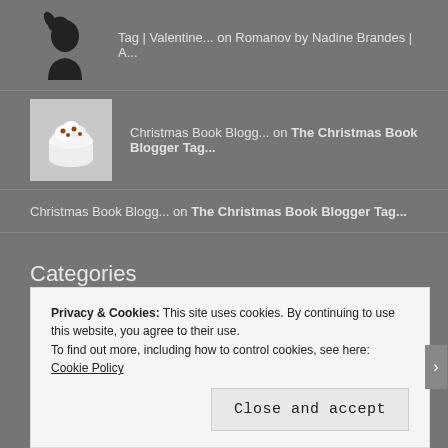Tag | Valentine... on Romanov by Nadine Brandes | A...
Christmas Book Blogg... on The Christmas Book Blogger Tag...
Christmas Book Blogg... on The Christmas Book Blogger Tag...
Categories
Select Category
Fellow Bloggers and Lovely Community
Privacy & Cookies: This site uses cookies. By continuing to use this website, you agree to their use.
To find out more, including how to control cookies, see here: Cookie Policy
Close and accept